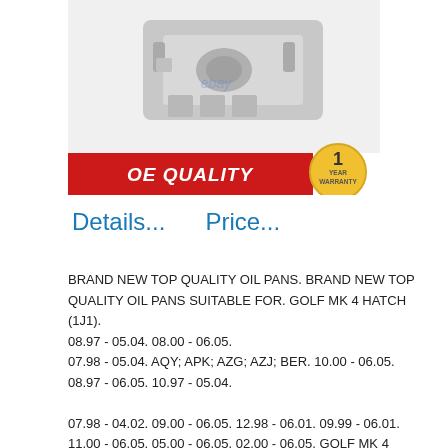[Figure (photo): Silver/aluminum automotive oil pan component shown on white background with red 'OE QUALITY' banner at bottom and gold '1 YEAR WARRANTY' badge. eBay logo visible.]
Details...    Price...
BRAND NEW TOP QUALITY OIL PANS. BRAND NEW TOP QUALITY OIL PANS SUITABLE FOR. GOLF MK 4 HATCH (1J1).
08.97 - 05.04. 08.00 - 06.05.
07.98 - 05.04. AQY; APK; AZG; AZJ; BER. 10.00 - 06.05.
08.97 - 06.05. 10.97 - 05.04.

07.98 - 04.02. 09.00 - 06.05. 12.98 - 06.01. 09.99 - 06.01.
11.00 - 06.05. 05.00 - 06.05. 02.00 - 06.05. GOLF MK 4